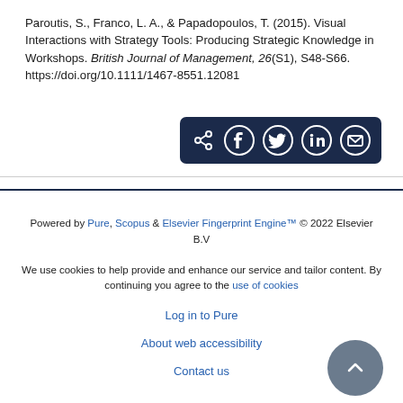Paroutis, S., Franco, L. A., & Papadopoulos, T. (2015). Visual Interactions with Strategy Tools: Producing Strategic Knowledge in Workshops. British Journal of Management, 26(S1), S48-S66. https://doi.org/10.1111/1467-8551.12081
[Figure (other): Social share bar with icons for share, Facebook, Twitter, LinkedIn, and email on a dark navy background]
Powered by Pure, Scopus & Elsevier Fingerprint Engine™ © 2022 Elsevier B.V
We use cookies to help provide and enhance our service and tailor content. By continuing you agree to the use of cookies
Log in to Pure
About web accessibility
Contact us